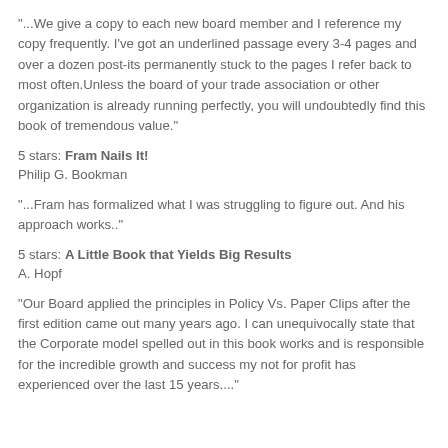"...We give a copy to each new board member and I reference my copy frequently. I've got an underlined passage every 3-4 pages and over a dozen post-its permanently stuck to the pages I refer back to most often.Unless the board of your trade association or other organization is already running perfectly, you will undoubtedly find this book of tremendous value."
5 stars: Fram Nails It!
Philip G. Bookman
"...Fram has formalized what I was struggling to figure out. And his approach works.."
5 stars: A Little Book that Yields Big Results
A. Hopf
"Our Board applied the principles in Policy Vs. Paper Clips after the first edition came out many years ago. I can unequivocally state that the Corporate model spelled out in this book works and is responsible for the incredible growth and success my not for profit has experienced over the last 15 years...."